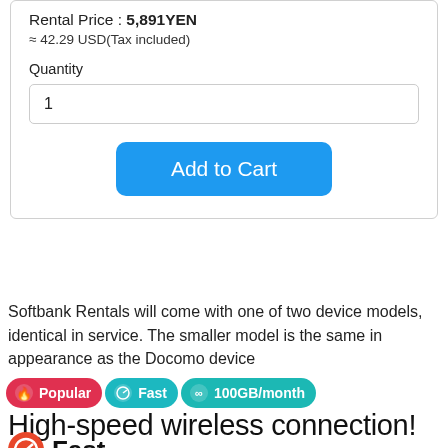Rental Price : 5,891YEN
≈ 42.29 USD(Tax included)
Quantity
1
Add to Cart
Softbank Rentals will come with one of two device models, identical in service. The smaller model is the same in appearance as the Docomo device
🔥 Popular  🏎 Fast  ∞ 100GB/month
High-speed wireless connection!
🏎 Fast